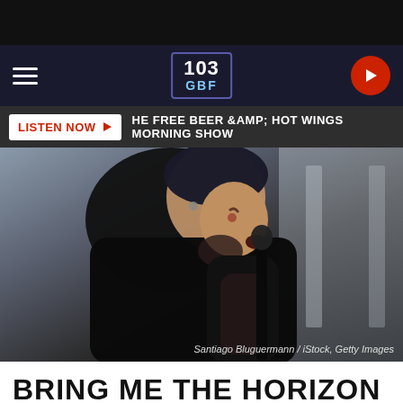103 GBF
LISTEN NOW ▶  HE FREE BEER &AMP; HOT WINGS MORNING SHOW
[Figure (photo): A heavily tattooed male singer leaning forward into a microphone, wearing a black t-shirt, with face and neck tattoos, performing on stage. Photo credit: Santiago Bluguermann / iStock, Getty Images]
Santiago Bluguermann / iStock, Getty Images
BRING ME THE HORIZON NOW